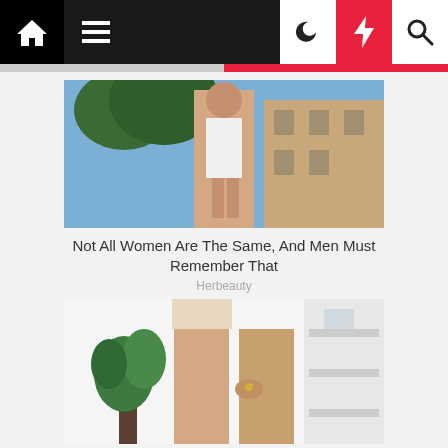Navigation bar with home, menu, moon, lightning, search icons
[Figure (photo): Woman in white swimsuit taking a selfie outdoors with trees and building in background]
Not All Women Are The Same, And Men Must Remember That
Herbeauty
[Figure (photo): Woman's legs and torso in skin-toned underwear next to a green plant and white shelf]
Get Rid Of Ingrowns Once And For All. This Helps Eliminate 95%
Herbeauty
mgid